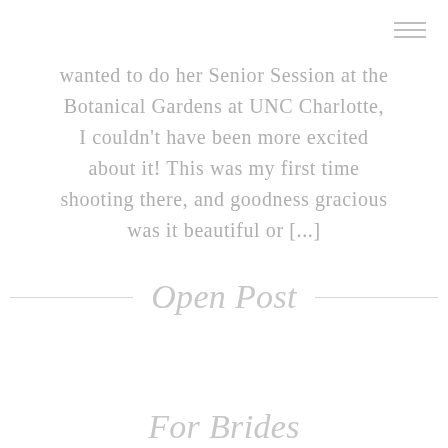menu icon (hamburger)
wanted to do her Senior Session at the Botanical Gardens at UNC Charlotte, I couldn't have been more excited about it! This was my first time shooting there, and goodness gracious was it beautiful or [...]
Open Post
For Brides